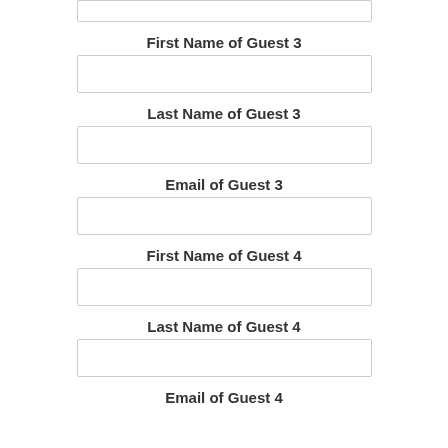[input box top]
First Name of Guest 3
[input field]
Last Name of Guest 3
[input field]
Email of Guest 3
[input field]
First Name of Guest 4
[input field]
Last Name of Guest 4
[input field]
Email of Guest 4